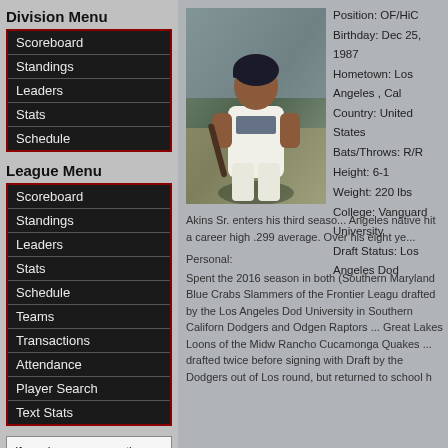Division Menu
Scoreboard
Standings
Leaders
Stats
Schedule
League Menu
Scoreboard
Standings
Leaders
Stats
Schedule
Teams
Transactions
Attendance
Player Search
Text Stats
If you have any questions or problems with the league statistics contact: League Admin
[Figure (photo): Baseball player in white uniform holding a bat, wearing a dark helmet]
Position: OF/HiC
Birthday: Dec 25, 1987
Hometown: Los Angeles , Cal
Country: United States
Bats/Throws: R/R
Height: 6-1
Weight: 220 lbs
College: Vanguard University
Draft Status: Los Angeles Dod
Akins Sr. enters his third season... Angeles native hit a career high .299 average. Over his eight ye...

Personal:
Spent the 2016 season in both (Southern Maryland Blue Crabs, Slammers of the Frontier League) drafted by the Los Angeles Dod University in Southern California Dodgers and Odgen Raptors ... Great Lakes Loons of the Midw Rancho Cucamonga Quakes ... drafted twice before signing with Draft by the Dodgers out of Los round, but returned to school h